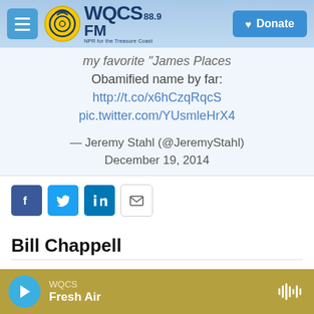[Figure (screenshot): WQCS 88.9 FM NPR for the Treasure Coast navigation bar with hamburger menu, logo, and Donate button]
my favorite 'James Places' Obamified name by far: http://t.co/x6hCzqRqcS pic.twitter.com/YUsmleHrX4 — Jeremy Stahl (@JeremyStahl) December 19, 2014
[Figure (infographic): Social share buttons: Facebook, Twitter, LinkedIn, Email]
Bill Chappell
Bill Chappell is a writer and editor on the News Desk in the
[Figure (screenshot): WQCS audio player bar at bottom showing Fresh Air playing]